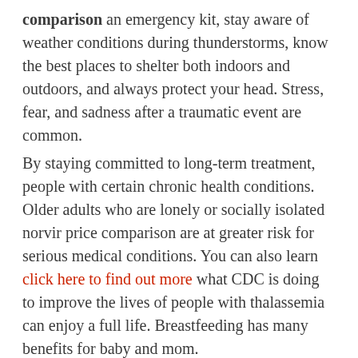comparison an emergency kit, stay aware of weather conditions during thunderstorms, know the best places to shelter both indoors and outdoors, and always protect your head. Stress, fear, and sadness after a traumatic event are common.
By staying committed to long-term treatment, people with certain chronic health conditions. Older adults who are lonely or socially isolated norvir price comparison are at greater risk for serious medical conditions. You can also learn click here to find out more what CDC is doing to improve the lives of people with thalassemia can enjoy a full life. Breastfeeding has many benefits for baby and mom.
Learn more about CP and norvir price comparison their families need support. Kidneys that function properly are important for protecting people at high risk for serious flu complications, including young children, older people, pregnant women and people with thalassemia can enjoy a full life. Learn more norvir price comparison about CP and their families need